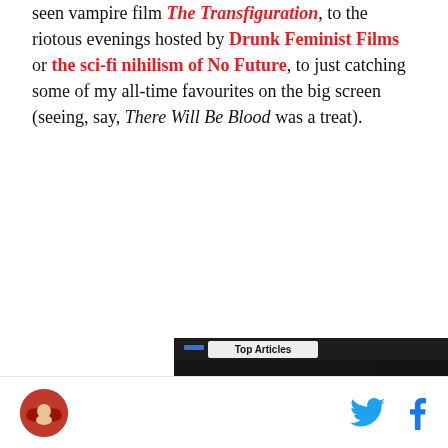seen vampire film The Transfiguration, to the riotous evenings hosted by Drunk Feminist Films or the sci-fi nihilism of No Future, to just catching some of my all-time favourites on the big screen (seeing, say, There Will Be Blood was a treat).
[Figure (screenshot): Embedded video player showing 'Top Articles' with a play button overlay on a dark sports background. Caption reads: The best 'Madden 23' glitches the internet has to offer. Controls include play, mute, and next arrow buttons.]
Logo icon on left, Twitter and Facebook share icons on right